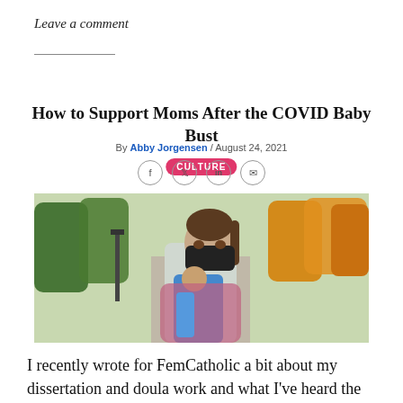Leave a comment
CULTURE
How to Support Moms After the COVID Baby Bust
By Abby Jorgensen / August 24, 2021
[Figure (photo): A woman wearing a black face mask holds a young child in a blue jacket outdoors in a park with autumn trees in the background.]
I recently wrote for FemCatholic a bit about my dissertation and doula work and what I've heard the most from parents and those